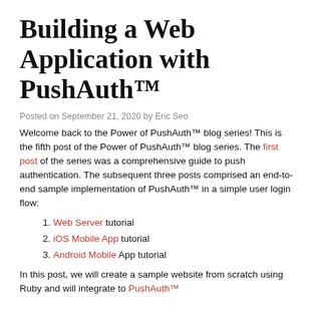Building a Web Application with PushAuth™
Posted on September 21, 2020 by Eric Seo
Welcome back to the Power of PushAuth™ blog series! This is the fifth post of the Power of PushAuth™ blog series. The first post of the series was a comprehensive guide to push authentication. The subsequent three posts comprised an end-to-end sample implementation of PushAuth™ in a simple user login flow:
Web Server tutorial
iOS Mobile App tutorial
Android Mobile App tutorial
In this post, we will create a sample website from scratch using Ruby and will integrate PushAuth™